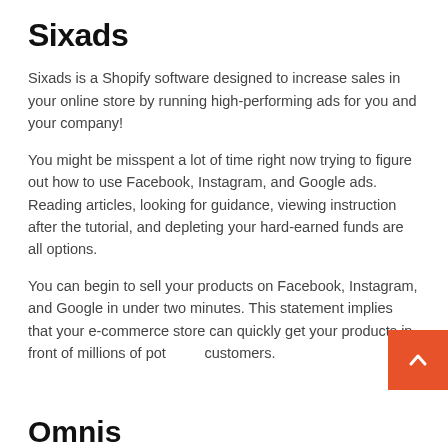Sixads
Sixads is a Shopify software designed to increase sales in your online store by running high-performing ads for you and your company!
You might be misspent a lot of time right now trying to figure out how to use Facebook, Instagram, and Google ads. Reading articles, looking for guidance, viewing instruction after the tutorial, and depleting your hard-earned funds are all options.
You can begin to sell your products on Facebook, Instagram, and Google in under two minutes. This statement implies that your e-commerce store can quickly get your products in front of millions of potential customers.
Omnisend